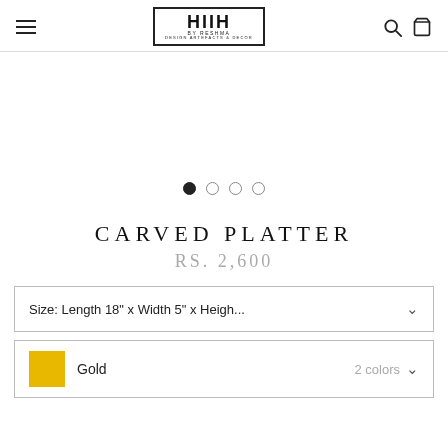HIIH BY RESHMA — DESIGN ARTEFACTS & DECOR
[Figure (other): Product image area with carousel navigation dots (1 active, 3 inactive)]
CARVED PLATTER
RS. 2,600
Size: Length 18" x Width 5" x Heigh...
Gold   2 colors